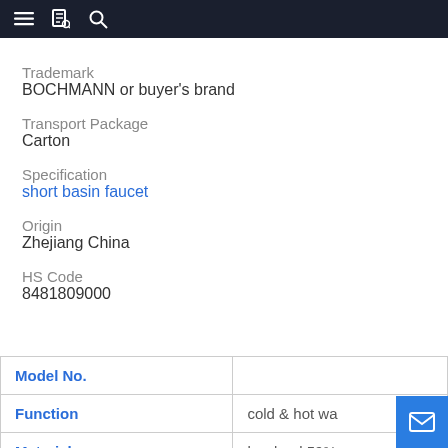≡ [book icon] [search icon]
Trademark
BOCHMANN or buyer's brand
Transport Package
Carton
Specification
short basin faucet
Origin
Zhejiang China
HS Code
8481809000
| Model No. |  |
| --- | --- |
| Function | cold & hot wa... |
| Material | low lead 59%... |